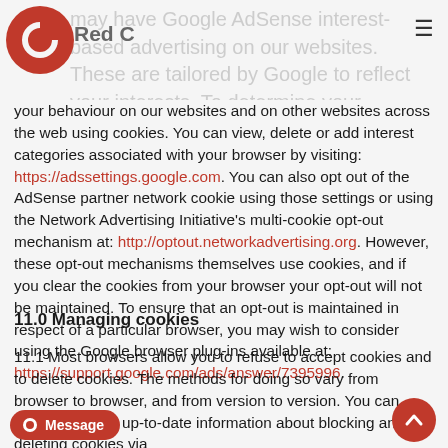Red C logo and navigation header
may have Google AdSense interest-based advertising on our websites. These are tailored by Google to reflect your interests. To determine your interests, Google will track your behaviour on our websites and on other websites across the web using cookies. You can view, delete or add interest categories associated with your browser by visiting: https://adssettings.google.com. You can also opt out of the AdSense partner network cookie using those settings or using the Network Advertising Initiative's multi-cookie opt-out mechanism at: http://optout.networkadvertising.org. However, these opt-out mechanisms themselves use cookies, and if you clear the cookies from your browser your opt-out will not be maintained. To ensure that an opt-out is maintained in respect of a particular browser, you may wish to consider using the Google browser plug-ins available at: https://support.google.com/ads/answer/7395996.
11.0 Managing cookies
11.1 Most browsers allow you to refuse to accept cookies and to delete cookies. The methods for doing so vary from browser to browser, and from version to version. You can however obtain up-to-date information about blocking and deleting cookies via